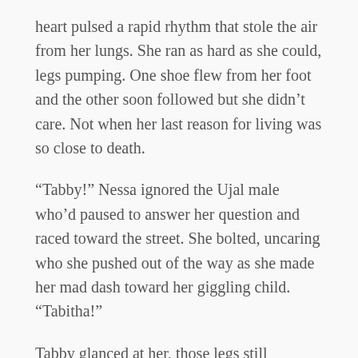heart pulsed a rapid rhythm that stole the air from her lungs. She ran as hard as she could, legs pumping. One shoe flew from her foot and the other soon followed but she didn’t care. Not when her last reason for living was so close to death.
“Tabby!” Nessa ignored the Ujal male who’d paused to answer her question and raced toward the street. She bolted, uncaring who she pushed out of the way as she made her mad dash toward her giggling child. “Tabitha!”
Tabby glanced at her, those legs still pumping, and she giggled. “Catch!”